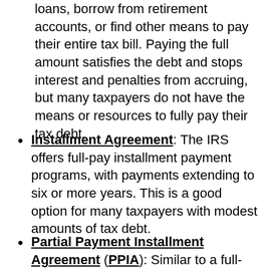loans, borrow from retirement accounts, or find other means to pay their entire tax bill. Paying the full amount satisfies the debt and stops interest and penalties from accruing, but many taxpayers do not have the means or resources to fully pay their tax debt.
Installment Agreement: The IRS offers full-pay installment payment programs, with payments extending to six or more years. This is a good option for many taxpayers with modest amounts of tax debt.
Partial Payment Installment Agreement (PPIA): Similar to a full-pay Installment Agreement, this program features monthly payments until the collections statute of limitation expires, but your